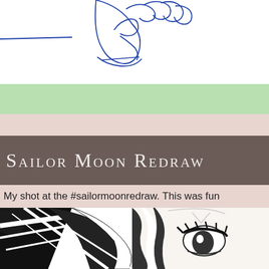[Figure (illustration): Partial sketch/line art of a cartoon character hand and line drawing in blue ink on white background]
Sailor Moon Redraw
My shot at the #sailormoonredraw. This was fun
[Figure (illustration): Black and white anime-style illustration of Sailor Moon character face with dramatic hair and crescent moon tiara, high contrast ink drawing]